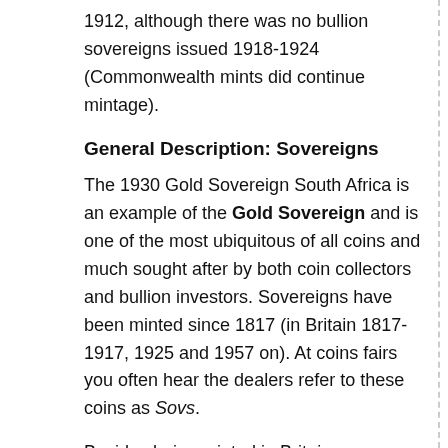1912, although there was no bullion sovereigns issued 1918-1924 (Commonwealth mints did continue mintage).
General Description: Sovereigns
The 1930 Gold Sovereign South Africa is an example of the Gold Sovereign and is one of the most ubiquitous of all coins and much sought after by both coin collectors and bullion investors. Sovereigns have been minted since 1817 (in Britain 1817-1917, 1925 and 1957 on). At coins fairs you often hear the dealers refer to these coins as Sovs.
Besides being minted in Britain, Sovereigns have been made in Australia (Melbourne, Sydney, Perth), India (then Bombay, now Mumbai), Canada (Ottowa) and South Africa (Pretoria) although these regional mints have not made sovereigns since 1932. The non-British coins carry a small mintmark ('S','M','P','I','C' or 'SA') just above the date. This 1930 Gold Sovereign South Africa